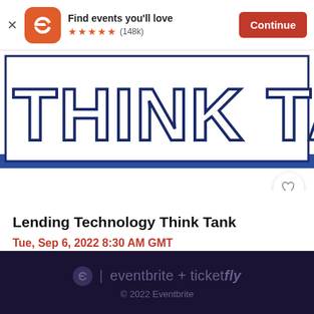[Figure (screenshot): Eventbrite app banner with logo, 'Find events you'll love', 5 stars (148k reviews), and Continue button]
[Figure (illustration): Think Tank event banner image with large outlined block text 'THINK TANK' on white background with blue bar]
Lending Technology Think Tank
Tue, Sep 6, 2022 8:30 AM GMT
Free
eventbrite + ticketfly © 2022 Eventbrite